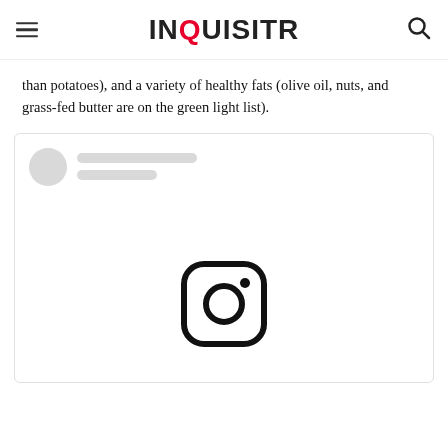INQUISITR
than potatoes), and a variety of healthy fats (olive oil, nuts, and grass-fed butter are on the green light list).
[Figure (screenshot): An embedded Instagram post placeholder with skeleton loading UI (avatar circle and gray bars) and an Instagram camera icon centered at the bottom.]